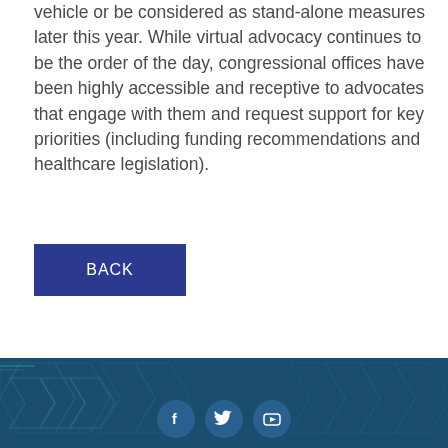vehicle or be considered as stand-alone measures later this year. While virtual advocacy continues to be the order of the day, congressional offices have been highly accessible and receptive to advocates that engage with them and request support for key priorities (including funding recommendations and healthcare legislation).
BACK
[Figure (other): Dark blue footer with hexagonal pattern background and three social media icons (Facebook, Twitter, YouTube) displayed as circular buttons]